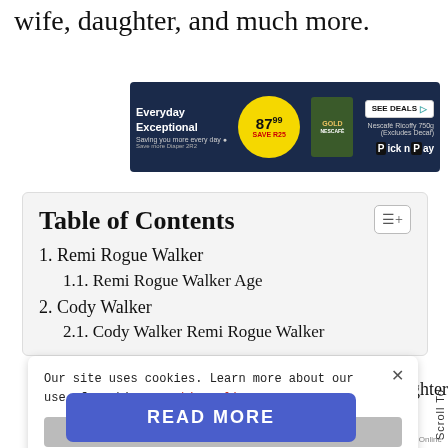wife, daughter, and much more.
[Figure (other): Pick n Pay advertisement banner: 'Everyday Exceptional - Saving you more every day'. Yellow circle with price 87.99, Save R25. Nescafe Ricoffy 750g (Excludes Decaf). SEE DEALS button. Pick n Pay logo.]
Table of Contents
1. Remi Rogue Walker
1.1. Remi Rogue Walker Age
2. Cody Walker
2.1. Cody Walker Remi Rogue Walker
Our site uses cookies. Learn more about our use of cookies: cookie policy
I ACCEPT USE OF COOKIES
READ MORE